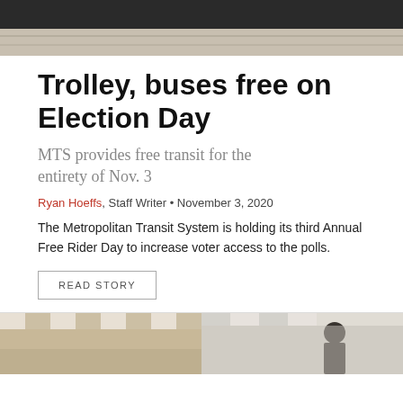[Figure (photo): Top portion of a photo showing a dark vehicle (trolley/bus) on a road, cropped at top]
Trolley, buses free on Election Day
MTS provides free transit for the entirety of Nov. 3
Ryan Hoeffs, Staff Writer • November 3, 2020
The Metropolitan Transit System is holding its third Annual Free Rider Day to increase voter access to the polls.
READ STORY
[Figure (photo): Bottom-left photo showing a tent or canopy structure with striped awning]
[Figure (photo): Bottom-right photo showing a person (man) outdoors near a striped canopy]